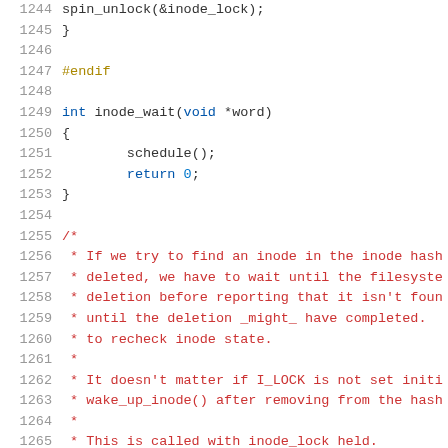Source code listing, lines 1244-1265, C kernel code snippet
1244    spin_unlock(&inode_lock);
1245    }
1246
1247    #endif
1248
1249    int inode_wait(void *word)
1250    {
1251            schedule();
1252            return 0;
1253    }
1254
1255    /*
1256     * If we try to find an inode in the inode hash
1257     * deleted, we have to wait until the filesyste
1258     * deletion before reporting that it isn't foun
1259     * until the deletion _might_ have completed.
1260     * to recheck inode state.
1261     *
1262     * It doesn't matter if I_LOCK is not set initi
1263     * wake_up_inode() after removing from the hash
1264     *
1265     * This is called with inode_lock held.